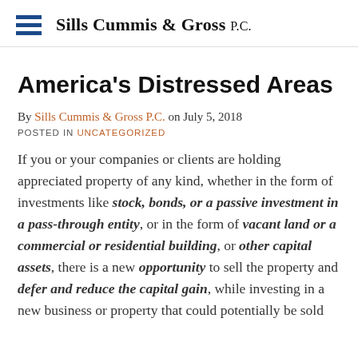Sills Cummis & Gross P.C.
America's Distressed Areas
By Sills Cummis & Gross P.C. on July 5, 2018
POSTED IN UNCATEGORIZED
If you or your companies or clients are holding appreciated property of any kind, whether in the form of investments like stock, bonds, or a passive investment in a pass-through entity, or in the form of vacant land or a commercial or residential building, or other capital assets, there is a new opportunity to sell the property and defer and reduce the capital gain, while investing in a new business or property that could potentially be sold